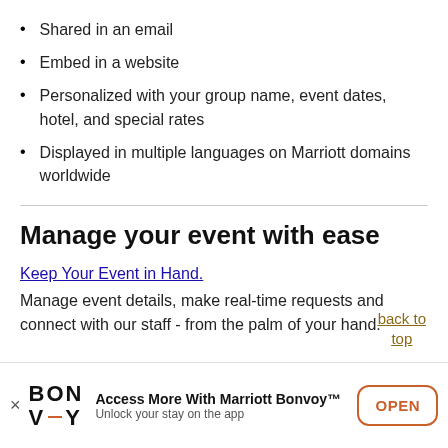Shared in an email
Embed in a website
Personalized with your group name, event dates, hotel, and special rates
Displayed in multiple languages on Marriott domains worldwide
Manage your event with ease
Keep Your Event in Hand.
Manage event details, make real-time requests and connect with our staff - from the palm of your hand.
back to top
Access More With Marriott Bonvoy™
Unlock your stay on the app